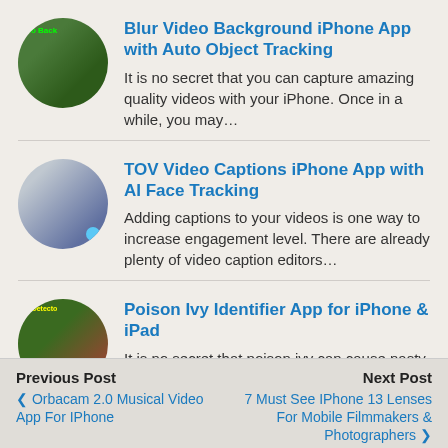Blur Video Background iPhone App with Auto Object Tracking
It is no secret that you can capture amazing quality videos with your iPhone. Once in a while, you may…
TOV Video Captions iPhone App with AI Face Tracking
Adding captions to your videos is one way to increase engagement level. There are already plenty of video caption editors…
Poison Ivy Identifier App for iPhone & iPad
It is no secret that poison ivy can cause nasty rashes caused by allergic reaction to urushiol. Poisonous plants are…
Previous Post | Orbacamm 2.0 Musical Video App For IPhone || Next Post | 7 Must See IPhone 13 Lenses For Mobile Filmmakers & Photographers